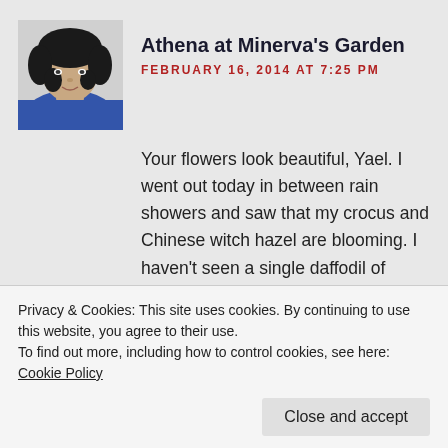[Figure (photo): Profile photo of a woman with dark curly hair wearing a blue top]
Athena at Minerva's Garden
FEBRUARY 16, 2014 AT 7:25 PM
Your flowers look beautiful, Yael. I went out today in between rain showers and saw that my crocus and Chinese witch hazel are blooming. I haven't seen a single daffodil of mine, but the neighbors have buds all over theirs. I noticed buds on my hellebore and little winter aconite bulbs, but no blooms yet. Honestly, it's been so rainy I haven't been venturing out into the
Privacy & Cookies: This site uses cookies. By continuing to use this website, you agree to their use.
To find out more, including how to control cookies, see here: Cookie Policy
Close and accept